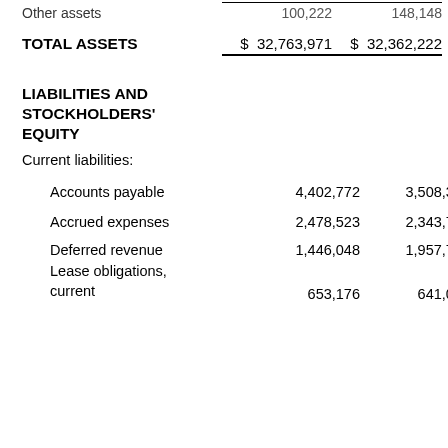|  | Col1 | Col2 |
| --- | --- | --- |
| Other assets | 100,222 | 148,148 |
| TOTAL ASSETS | $ 32,763,971 | $ 32,362,222 |
| LIABILITIES AND STOCKHOLDERS' EQUITY |  |  |
| Current liabilities: |  |  |
| Accounts payable | 4,402,772 | 3,508,354 |
| Accrued expenses | 2,478,523 | 2,343,728 |
| Deferred revenue | 1,446,048 | 1,957,752 |
| Lease obligations, current | 653,176 | 641,002 |